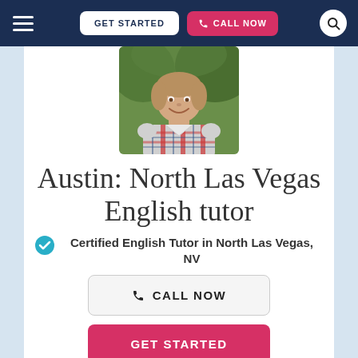GET STARTED | CALL NOW
[Figure (photo): Profile photo of Austin, a young man wearing a plaid shirt, smiling outdoors]
Austin: North Las Vegas English tutor
Certified English Tutor in North Las Vegas, NV
CALL NOW
GET STARTED